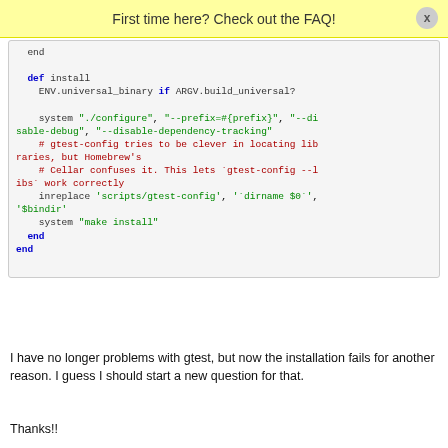First time here? Check out the FAQ!
end

  def install
    ENV.universal_binary if ARGV.build_universal?

    system "./configure", "--prefix=#{prefix}", "--disable-debug", "--disable-dependency-tracking"
    # gtest-config tries to be clever in locating libraries, but Homebrew's
    # Cellar confuses it. This lets `gtest-config --libs` work correctly
    inreplace 'scripts/gtest-config', '`dirname $0`', '$bindir'
    system "make install"
  end
end
I have no longer problems with gtest, but now the installation fails for another reason. I guess I should start a new question for that.
Thanks!!